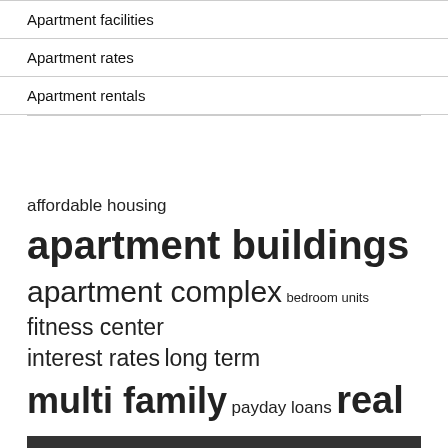Apartment facilities
Apartment rates
Apartment rentals
[Figure (infographic): Tag cloud with real estate and apartment related keywords in varying font sizes indicating frequency/importance. Terms include: affordable housing, apartment buildings (largest), apartment complex, bedroom units, fitness center, interest rates, long term, multi family, payday loans, real estate (large), short term, single family, square feet, square foot, united states, vice president, york city.]